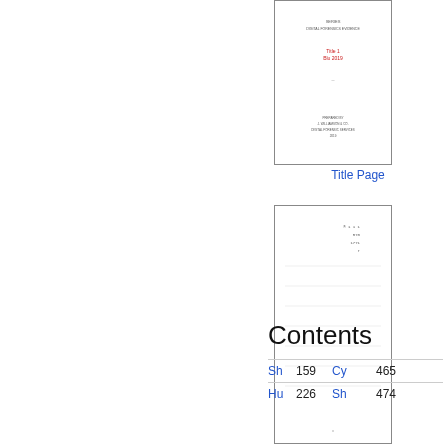[Figure (screenshot): Thumbnail of a Title Page document showing title text and red subtitle text]
Title Page
[Figure (screenshot): Thumbnail of a Table of Contents page showing numbered entries]
Table of Contents
Contents
|  |  |  |  |
| --- | --- | --- | --- |
| Sh | 159 | Cy | 465 |
| Hu | 226 | Sh | 474 |